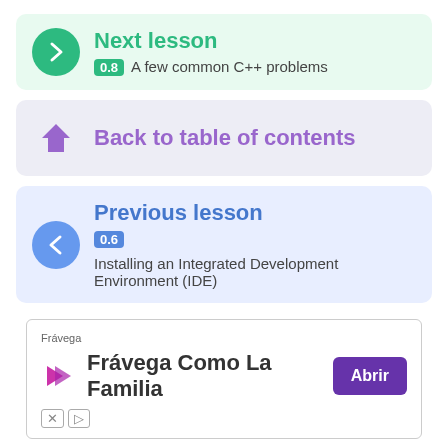Next lesson — 0.8 A few common C++ problems
Back to table of contents
Previous lesson — 0.6 Installing an Integrated Development Environment (IDE)
[Figure (infographic): Advertisement for Frávega — Frávega Como La Familia, with Abrir button]
Frávega
Frávega Como La Familia
Abrir